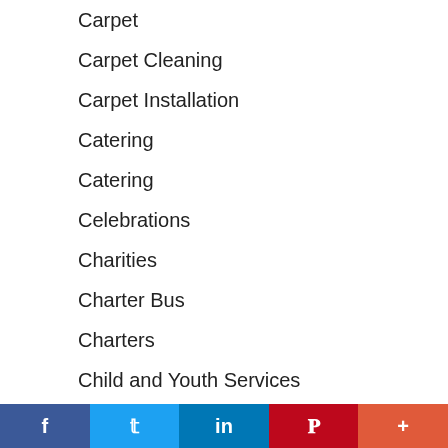Carpet
Carpet Cleaning
Carpet Installation
Catering
Catering
Celebrations
Charities
Charter Bus
Charters
Child and Youth Services
Childcare
Chimney Services
Chiropractic
Cleaning